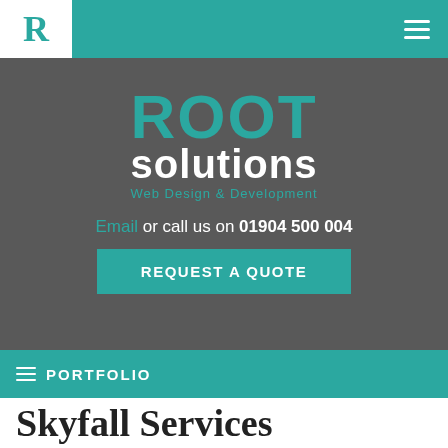R — ROOT solutions Web Design & Development (navigation header with logo and menu icon)
[Figure (logo): ROOT solutions Web Design & Development logo — 'ROOT' in large teal uppercase letters, 'solutions' in large white bold text below, 'Web Design & Development' in smaller teal text beneath]
Email or call us on 01904 500 004
REQUEST A QUOTE
≡ PORTFOLIO
Skyfall Services